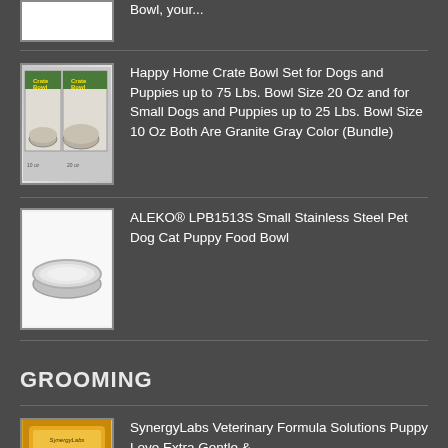[Figure (photo): Partial product image at top (cropped), white background]
Bowl, your...
[Figure (photo): Happy Home Crate Bowl Set product image showing two granite gray bowls in packaging]
Happy Home Crate Bowl Set for Dogs and Puppies up to 75 Lbs. Bowl Size 20 Oz and for Small Dogs and Puppies up to 25 Lbs. Bowl Size 10 Oz Both Are Granite Gray Color (Bundle)
[Figure (photo): ALEKO LPB1513S small stainless steel pet bowl on white background]
ALEKO® LPB1513S Small Stainless Steel Pet Dog Cat Puppy Food Bowl
GROOMING
[Figure (photo): SynergyLabs Veterinary Formula Solutions product can with gold/yellow label]
SynergyLabs Veterinary Formula Solutions Puppy Love Extra Gentle &